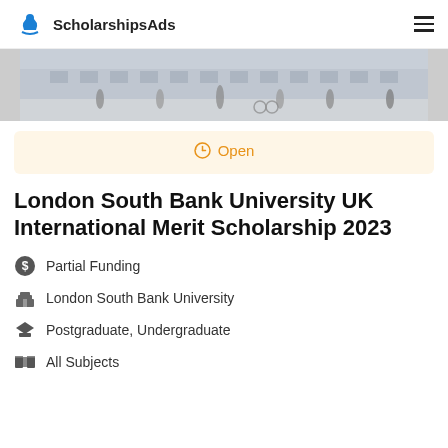ScholarshipsAds
[Figure (photo): Street scene with people walking and cycling near a university building]
Open
London South Bank University UK International Merit Scholarship 2023
Partial Funding
London South Bank University
Postgraduate, Undergraduate
All Subjects